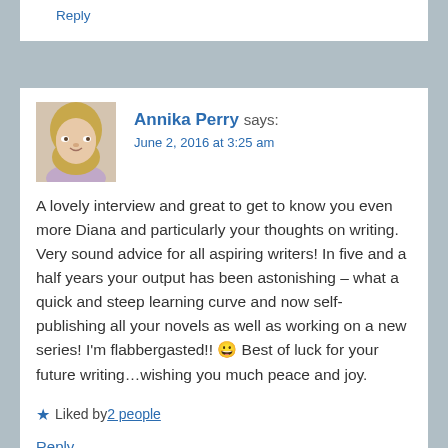Reply
[Figure (photo): Profile photo of Annika Perry, a woman with blonde hair and glasses]
Annika Perry says:
June 2, 2016 at 3:25 am
A lovely interview and great to get to know you even more Diana and particularly your thoughts on writing. Very sound advice for all aspiring writers! In five and a half years your output has been astonishing – what a quick and steep learning curve and now self-publishing all your novels as well as working on a new series! I'm flabbergasted!! 😀 Best of luck for your future writing…wishing you much peace and joy.
Liked by 2 people
Reply